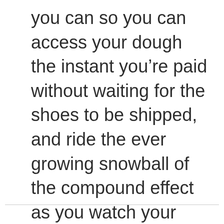you can so you can access your dough the instant you're paid without waiting for the shoes to be shipped, and ride the ever growing snowball of the compound effect as you watch your business grow!